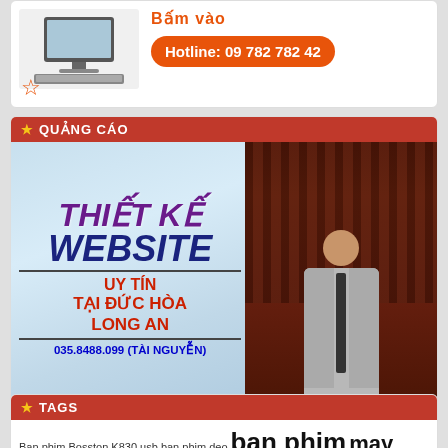[Figure (infographic): Top advertisement box with computer graphic, orange 'Hotline: 09 782 782 42' button, and star icon]
★ QUẢNG CÁO
[Figure (infographic): Advertisement banner for web design service: THIẾT KẾ WEBSITE UY TÍN TẠI ĐỨC HÒA LONG AN, phone 035.8488.099 (TÀI NGUYỄN), with photo of man in grey suit]
★ TAGS
Ban phim Bosston K830 usb  ban phim deo  ban phim may tinh  cai dat phan mem o duc hoa  chuot may tinh  hdd pc  keyboard Colovis C30  keyboard Mitsumi L1  máy tính